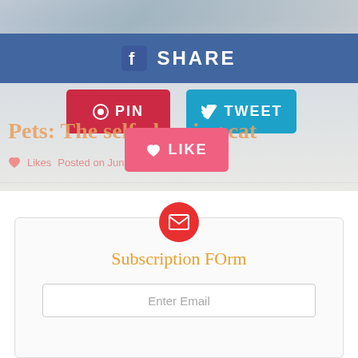[Figure (photo): Top portion of a cat/pet image, partially visible]
SHARE
PIN
TWEET
Pets: The self-cleaning cat
Likes   Posted on June 22, 2013
LIKE
Subscription FOrm
Enter Email